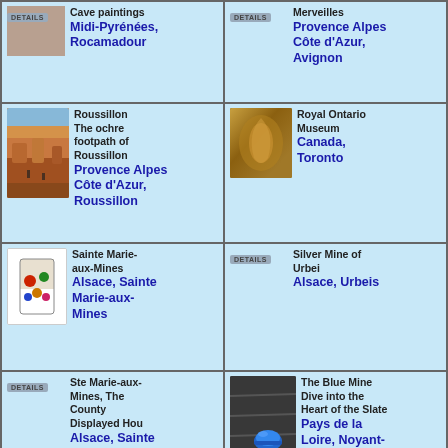| [image] Cave paintings | Midi-Pyrénées, Rocamadour | [image] Merveilles | Provence Alpes Côte d'Azur, Avignon |
| [image] Roussillon The ochre footpath of Roussillon | Provence Alpes Côte d'Azur, Roussillon | [image] Royal Ontario Museum | Canada, Toronto |
| [image] Sainte Marie-aux-Mines | Alsace, Sainte Marie-aux-Mines | [image] Silver Mine of Urbei | Alsace, Urbeis |
| [image] Ste Marie-aux-Mines, The County Displayed Hou | Alsace, Sainte Marie-aux-Mines | [image] The Blue Mine Dive into the Heart of the Slate | Pays de la Loire, Noyant-la-Gravoyère |